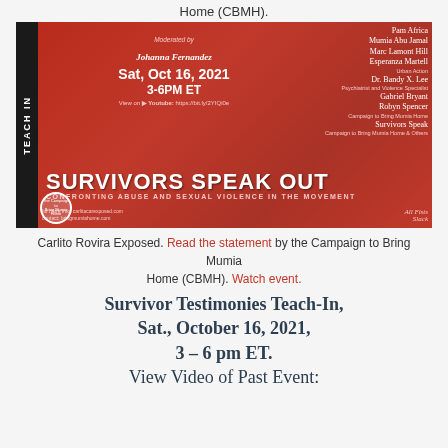Home (CBMH).
[Figure (illustration): Red-toned event flyer for 'Survivors Speak Out: Confronting Abuse and Sexual Violence in the Movement'. Features a woman with mouth open wide in the center flanked by two profile faces. Text includes: Moderated by Johanna Fernandez, Sat, Oct 16, 2021, 3-6PM ET, View on Youtube. Speakers: Pam Africa, Mumia Abu Jamal, Marc Lamont Hill, Esperanza Martell, Dr. Bandy X. Lee, Gabriel Bryant, Robyn Spencer, Survivors Speak. TEACH IN vertical bar on left side. Logo bottom left.]
Carlito Rovira Exposed. Read the statement by the Campaign to Bring Mumia Home (CBMH). Watch event.
Survivor Testimonies Teach-In,
Sat., October 16, 2021,
3 – 6 pm ET.
View Video of Past Event: